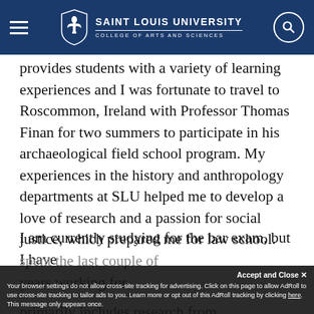SAINT LOUIS UNIVERSITY — COLLEGE OF ARTS AND SCIENCES
provides students with a variety of learning experiences and I was fortunate to travel to Roscommon, Ireland with Professor Thomas Finan for two summers to participate in his archaeological field school program. My experiences in the history and anthropology departments at SLU helped me to develop a love of research and a passion for social justice, which prepared me for law school.
I am currently studying for the bar exam, but I have
spent the last couple of years working for
primarily includes research from immigration and
Accept and Close ×
Your browser settings do not allow cross-site tracking for advertising. Click on this page to allow AdRoll to use cross-site tracking to tailor ads to you. Learn more or opt out of this AdRoll tracking by clicking here. This message only appears once.